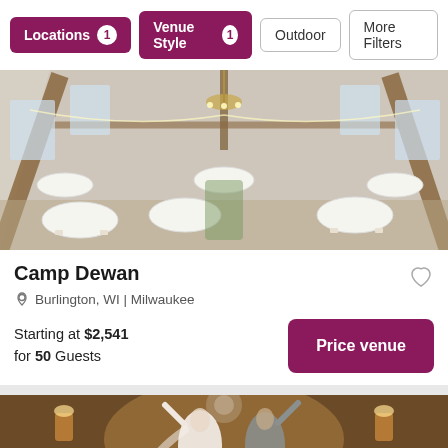Locations 1 | Venue Style 1 | Outdoor | More Filters
[Figure (photo): Interior of a rustic barn venue set up for a wedding reception, with white-clothed round tables, wooden beam ceiling, chandelier, and string lights]
Camp Dewan
Burlington, WI | Milwaukee
Starting at $2,541 for 50 Guests
[Figure (photo): A bride and groom dancing at their wedding reception in a warm-lit ballroom with guests in the background]